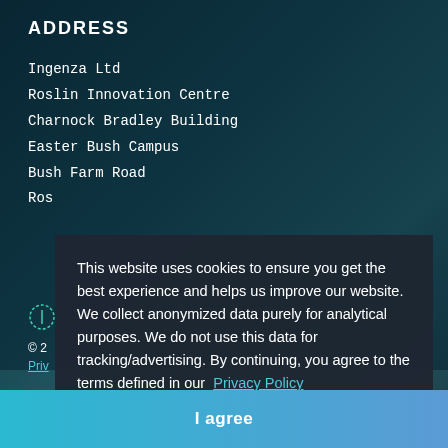ADDRESS
Ingenza Ltd
Roslin Innovation Centre
Charnock Bradley Building
Easter Bush Campus
Bush Farm Road
Ros[lin]
This website uses cookies to ensure you get the best experience and helps us improve our website. We collect anonymized data purely for analytical purposes. We do not use this data for tracking/advertising. By continuing, you agree to the terms defined in our  Privacy Policy
© 2
Priv[acy Policy]
I agree